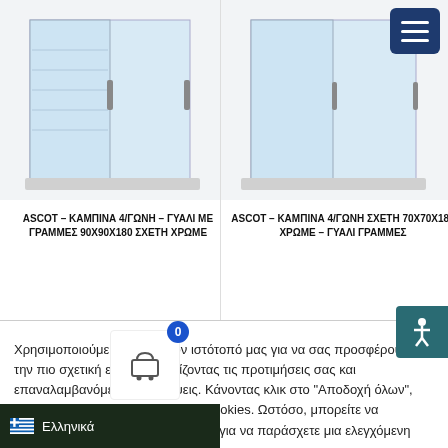[Figure (photo): Shower cabin product image - ASCOT 4-corner shower with lined glass 90x90x180]
[Figure (photo): Shower cabin product image - ASCOT 4-corner shower 70x70x180 chrome with lined glass]
ASCOT – ΚΑΜΠΙΝΑ 4/ΓΩΝΗ – ΓΥΑΛΙ ΜΕ ΓΡΑΜΜΕΣ 90Χ90Χ180 ΣΧΕΤΗ ΧΡΩΜΕ
ASCOT – ΚΑΜΠΙΝΑ 4/ΓΩΝΗ ΣΧΕΤΗ 70Χ70Χ180 ΧΡΩΜΕ – ΓΥΑΛΙ ΓΡΑΜΜΕΣ
Χρησιμοποιούμε cookies στον ιστότοπό μας για να σας προσφέρουμε την πιο σχετική εμπειρία θυμίζοντας τις προτιμήσεις σας και επαναλαμβανόμενες επισκέψεις. Κάνοντας κλικ στο "Αποδοχή όλων", συναινείτε στη χρήση ΟΛΩΝ των cookies. Ωστόσο, μπορείτε να επισκεφθείτε τις "Ρυθμίσεις cookie" για να παράσχετε μια ελεγχόμενη συγκατάθεση.
Ρυθμίσεις Cookie
Αποδοχή όλων
Ελληνικά